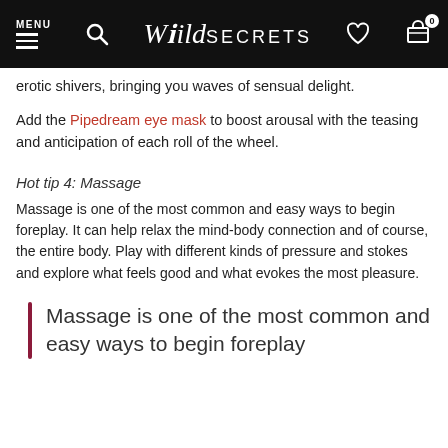MENU | [search icon] | Wild SECRETS | [heart icon] | [cart icon 0]
erotic shivers, bringing you waves of sensual delight.
Add the Pipedream eye mask to boost arousal with the teasing and anticipation of each roll of the wheel.
Hot tip 4: Massage
Massage is one of the most common and easy ways to begin foreplay. It can help relax the mind-body connection and of course, the entire body. Play with different kinds of pressure and stokes and explore what feels good and what evokes the most pleasure.
Massage is one of the most common and easy ways to begin foreplay